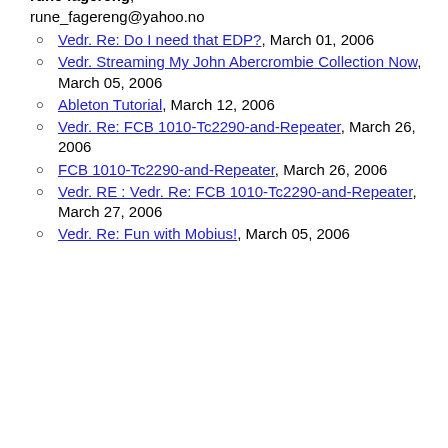Triangular Guitar picks, March 29, 2006
rune fagereng, rune_fagereng@yahoo.no
Vedr. Re: Do I need that EDP?, March 01, 2006
Vedr. Streaming My John Abercrombie Collection Now, March 05, 2006
Ableton Tutorial, March 12, 2006
Vedr. Re: FCB 1010-Tc2290-and-Repeater, March 26, 2006
FCB 1010-Tc2290-and-Repeater, March 26, 2006
Vedr. RE : Vedr. Re: FCB 1010-Tc2290-and-Repeater, March 27, 2006
Vedr. Re: Fun with Mobius!, March 05, 2006